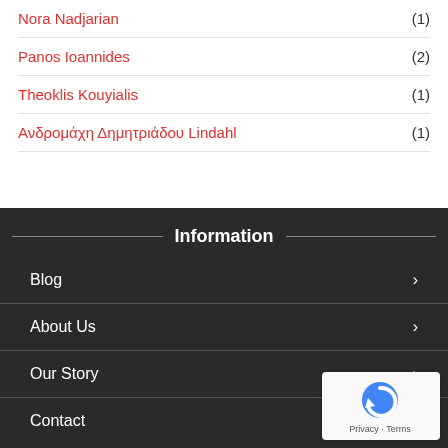Nora Nadjarian (1)
Panos Ioannides (2)
Theoklis Kouyialis (1)
Ανδρομάχη Δημητριάδου Lindahl (1)
Information
Blog
About Us
Our Story
Contact